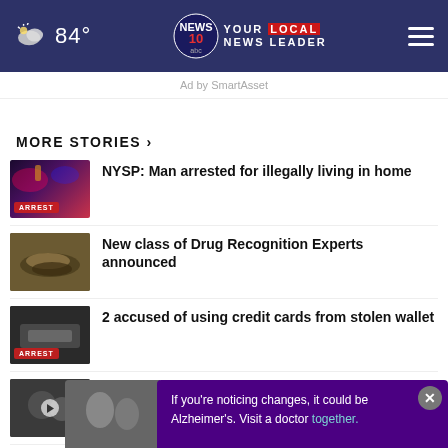84° | NEWS 10 ABC - YOUR LOCAL NEWS LEADER
Ad by SmartAsset
MORE STORIES ›
NYSP: Man arrested for illegally living in home
New class of Drug Recognition Experts announced
2 accused of using credit cards from stolen wallet
Black maternal health disparities: Moving the needle
Man pleads guilty in connection with
If you're noticing changes, it could be Alzheimer's. Visit a doctor together.